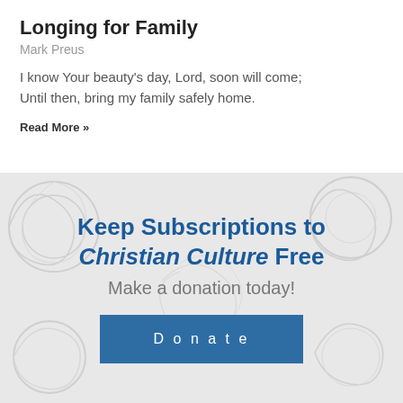Longing for Family
Mark Preus
I know Your beauty's day, Lord, soon will come;
Until then, bring my family safely home.
Read More »
Keep Subscriptions to Christian Culture Free
Make a donation today!
Donate